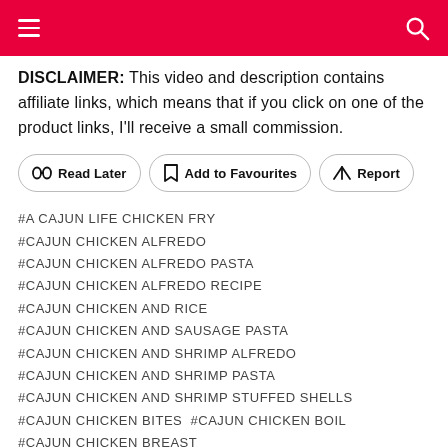≡ [search icon]
DISCLAIMER: This video and description contains affiliate links, which means that if you click on one of the product links, I'll receive a small commission.
Read Later | Add to Favourites | Report
#A CAJUN LIFE CHICKEN FRY
#CAJUN CHICKEN ALFREDO
#CAJUN CHICKEN ALFREDO PASTA
#CAJUN CHICKEN ALFREDO RECIPE
#CAJUN CHICKEN AND RICE
#CAJUN CHICKEN AND SAUSAGE PASTA
#CAJUN CHICKEN AND SHRIMP ALFREDO
#CAJUN CHICKEN AND SHRIMP PASTA
#CAJUN CHICKEN AND SHRIMP STUFFED SHELLS
#CAJUN CHICKEN BITES  #CAJUN CHICKEN BOIL
#CAJUN CHICKEN BREAST